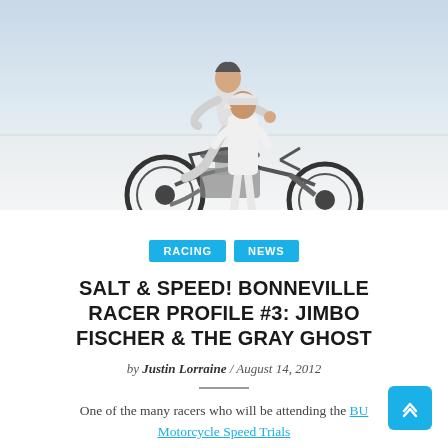[Figure (photo): Two people on a motorcycle on the Bonneville Salt Flats. One person in white sleeveless shirt and white cap stands/leans behind another person in a white racing suit seated on a classic/custom motorcycle. Background is bright white salt flats under clear sky.]
RACING
NEWS
SALT & SPEED! BONNEVILLE RACER PROFILE #3: JIMBO FISCHER & THE GRAY GHOST
by Justin Lorraine / August 14, 2012
One of the many racers who will be attending the BUB Motorcycle Speed Trials this August is Jimbo Fischer. This is a